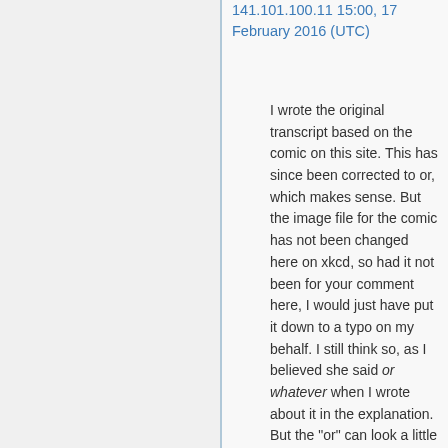141.101.100.11 15:00, 17 February 2016 (UTC)
I wrote the original transcript based on the comic on this site. This has since been corrected to or, which makes sense. But the image file for the comic has not been changed here on xkcd, so had it not been for your comment here, I would just have put it down to a typo on my behalf. I still think so, as I believed she said or whatever when I wrote about it in the explanation. But the "or" can look a little as "of". It is, however, not unheard of that Randall changes a